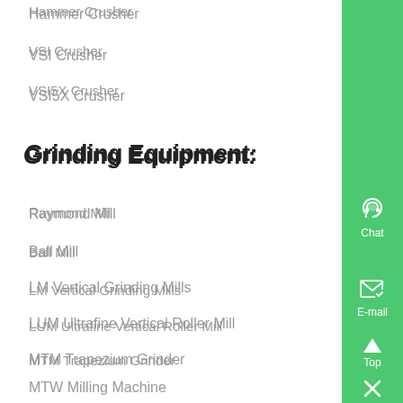Hammer Crusher
VSI Crusher
VSI5X Crusher
Grinding Equipment:
Raymond Mill
Ball Mill
LM Vertical Grinding Mills
LUM Ultrafine Vertical Roller Mill
MTM Trapezium Grinder
MTW Milling Machine
SCM Ultrafine Mill